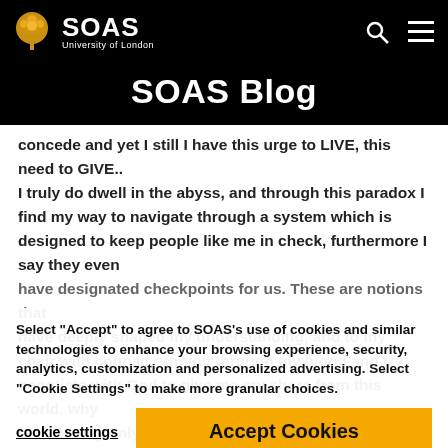SOAS University of London — SOAS Blog
SOAS Blog
concede and yet I still I have this urge to LIVE, this need to GIVE..
I truly do dwell in the abyss, and through this paradox I find my way to navigate through a system which is designed to keep people like me in check, furthermore I say they even have designated checkpoints for us. These are notions that have deeply shaped my understanding, and to my chair with cognac running through my blood and try negotiate with God to give me my share from this world, why is it that my only privilege!
Select "Accept" to agree to SOAS's use of cookies and similar technologies to enhance your browsing experience, security, analytics, customization and personalized advertising. Select "Cookie Settings" to make more granular choices.